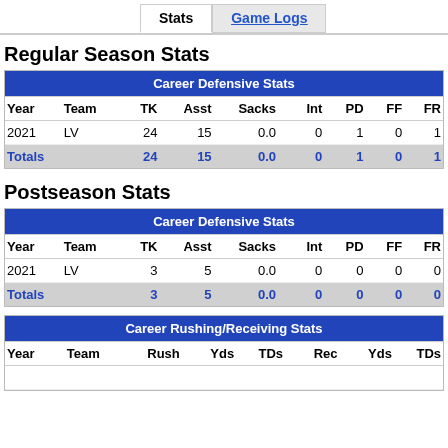Stats | Game Logs
Regular Season Stats
| Year | Team | TK | Asst | Sacks | Int | PD | FF | FR |
| --- | --- | --- | --- | --- | --- | --- | --- | --- |
| 2021 | LV | 24 | 15 | 0.0 | 0 | 1 | 0 | 1 |
| Totals |  | 24 | 15 | 0.0 | 0 | 1 | 0 | 1 |
Postseason Stats
| Year | Team | TK | Asst | Sacks | Int | PD | FF | FR |
| --- | --- | --- | --- | --- | --- | --- | --- | --- |
| 2021 | LV | 3 | 5 | 0.0 | 0 | 0 | 0 | 0 |
| Totals |  | 3 | 5 | 0.0 | 0 | 0 | 0 | 0 |
| Year | Team | Rush | Yds | TDs | Rec | Yds | TDs |
| --- | --- | --- | --- | --- | --- | --- | --- |